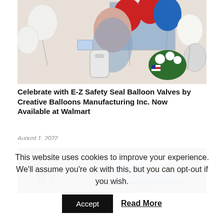[Figure (photo): Woman in floral dress holding a product (E-Z Safety Seal Balloon Valves), surrounded by colorful red, white, blue, and silver balloons and flowers with American flags, standing next to a helium tank.]
Celebrate with E-Z Safety Seal Balloon Valves by Creative Balloons Manufacturing Inc. Now Available at Walmart
August 1, 2022
[Figure (photo): Partial view of a dark-themed room with a large flatscreen TV displaying an ocean/beach scene.]
This website uses cookies to improve your experience. We'll assume you're ok with this, but you can opt-out if you wish.